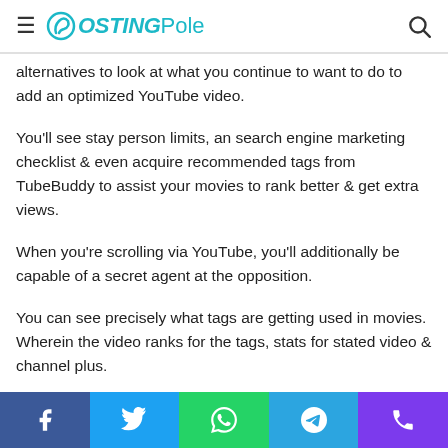PostingPole
alternatives to look at what you continue to want to do to add an optimized YouTube video.
You'll see stay person limits, an search engine marketing checklist & even acquire recommended tags from TubeBuddy to assist your movies to rank better & get extra views.
When you're scrolling via YouTube, you'll additionally be capable of a secret agent at the opposition.
You can see precisely what tags are getting used in movies. Wherein the video ranks for the tags, stats for stated video & channel plus.
Social share bar: Facebook, Twitter, WhatsApp, Telegram, Phone